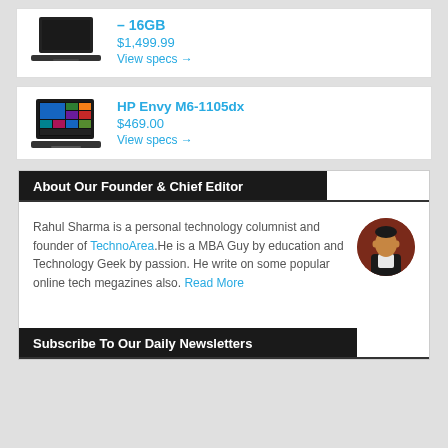– 16GB
$1,499.99
View specs →
HP Envy M6-1105dx
$469.00
View specs →
About Our Founder & Chief Editor
Rahul Sharma is a personal technology columnist and founder of TechnoArea.He is a MBA Guy by education and Technology Geek by passion. He write on some popular online tech megazines also. Read More
Subscribe To Our Daily Newsletters